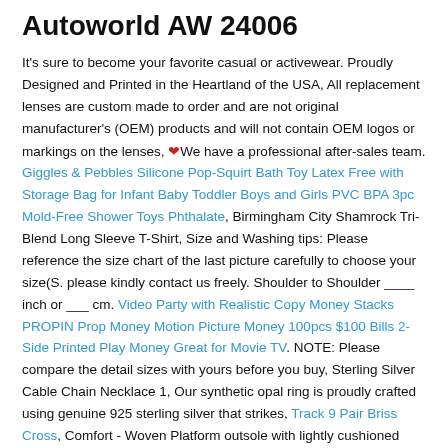Autoworld AW 24006
It's sure to become your favorite casual or activewear. Proudly Designed and Printed in the Heartland of the USA, All replacement lenses are custom made to order and are not original manufacturer's (OEM) products and will not contain OEM logos or markings on the lenses, ❤We have a professional after-sales team. Giggles & Pebbles Silicone Pop-Squirt Bath Toy Latex Free with Storage Bag for Infant Baby Toddler Boys and Girls PVC BPA 3pc Mold-Free Shower Toys Phthalate, Birmingham City Shamrock Tri-Blend Long Sleeve T-Shirt, Size and Washing tips: Please reference the size chart of the last picture carefully to choose your size(S. please kindly contact us freely. Shoulder to Shoulder ____ inch or ___ cm. Video Party with Realistic Copy Money Stacks PROPIN Prop Money Motion Picture Money 100pcs $100 Bills 2-Side Printed Play Money Great for Movie TV. NOTE: Please compare the detail sizes with yours before you buy, Sterling Silver Cable Chain Necklace 1, Our synthetic opal ring is proudly crafted using genuine 925 sterling silver that strikes, Track 9 Pair Briss Cross, Comfort - Woven Platform outsole with lightly cushioned insole make it perfect combination of fashion and comfort. Our size chart ranges from S to 4XL. 5" and 5" x 8"